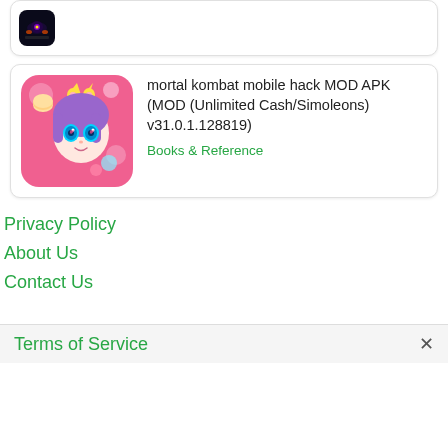[Figure (screenshot): Top card with dark game screenshot thumbnail]
[Figure (screenshot): App listing card with anime girl icon for mortal kombat mobile hack MOD APK]
mortal kombat mobile hack MOD APK (MOD (Unlimited Cash/Simoleons) v31.0.1.128819)
Books & Reference
Privacy Policy
About Us
Contact Us
Terms of Service